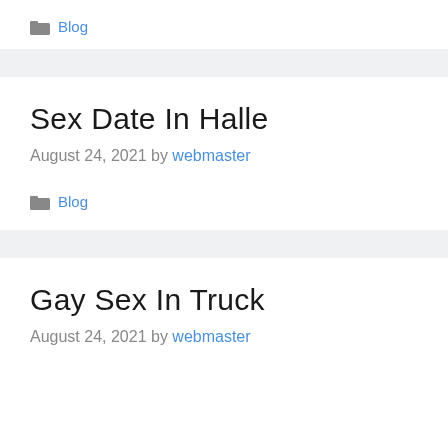Blog
Sex Date In Halle
August 24, 2021 by webmaster
Blog
Gay Sex In Truck
August 24, 2021 by webmaster